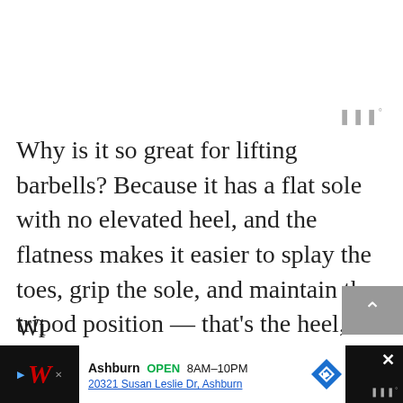Why is it so great for lifting barbells? Because it has a flat sole with no elevated heel, and the flatness makes it easier to splay the toes, grip the sole, and maintain the tripod position — that's the heel, medial, and lateral side of the metatarsal base — and the hard rubber is very resistant to compression.
[Figure (screenshot): Advertisement bar for Walgreens showing store name, open status 8AM-10PM, address 20321 Susan Leslie Dr Ashburn, navigation icon, and close button with weather icon.]